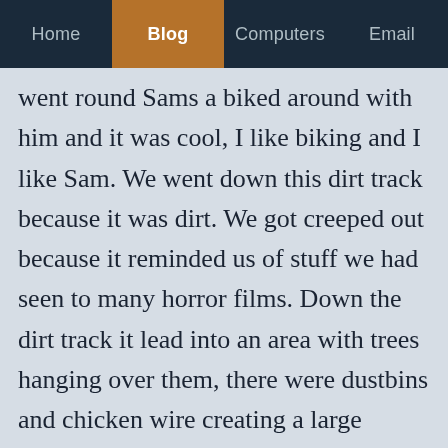Home | Blog | Computers | Email
went round Sams a biked around with him and it was cool, I like biking and I like Sam. We went down this dirt track because it was dirt. We got creeped out because it reminded us of stuff we had seen to many horror films. Down the dirt track it lead into an area with trees hanging over them, there were dustbins and chicken wire creating a large cornered area with small huts inside of them. We where like "What the hell is this place". It was cool to feel